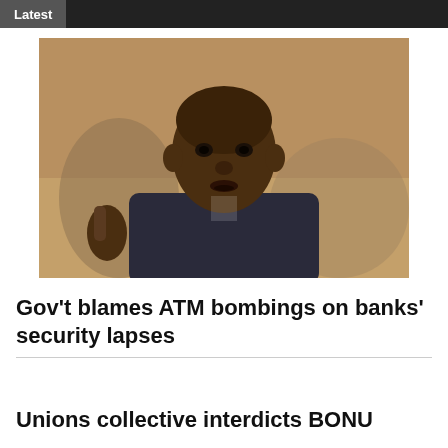Latest
[Figure (photo): Close-up photo of a Black man in a suit, appearing to speak or gesture, against a blurred background.]
Gov't blames ATM bombings on banks' security lapses
Unions collective interdicts BONU